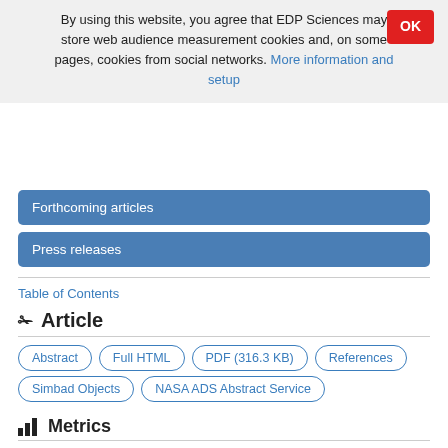By using this website, you agree that EDP Sciences may store web audience measurement cookies and, on some pages, cookies from social networks. More information and setup
Forthcoming articles
Press releases
Table of Contents
Article
Abstract
Full HTML
PDF (316.3 KB)
References
Simbad Objects
NASA ADS Abstract Service
Metrics
Show article metrics